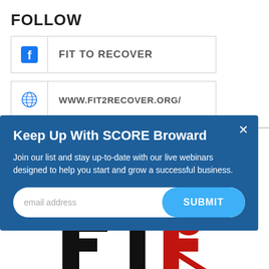FOLLOW
FIT TO RECOVER (Facebook)
WWW.FIT2RECOVER.ORG/
Keep Up With SCORE Broward
Join our list and stay up-to-date with our live webinars designed to help you start and grow a successful business.
[Figure (logo): FTR (Fit To Recover) logo with bold black and red letters on white background]